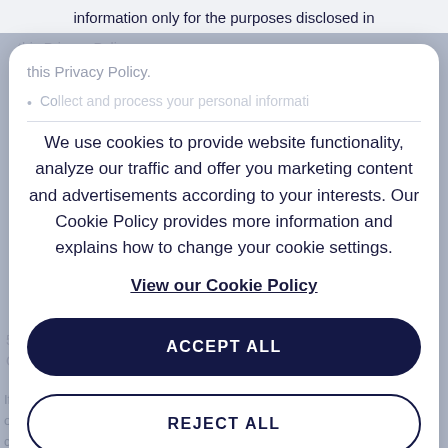information only for the purposes disclosed in
this Privacy Policy.
Co... [partially obscured] ...on with ...nt to
We use cookies to provide website functionality, analyze our traffic and offer you marketing content and advertisements according to your interests. Our Cookie Policy provides more information and explains how to change your cookie settings.
View our Cookie Policy
5. Law... ...iduals Only4
If ... ...ea or th... ...is to colle... ...ation. Our law or bo... ...rmation concerned and the context in which it is processed.
ACCEPT ALL
REJECT ALL